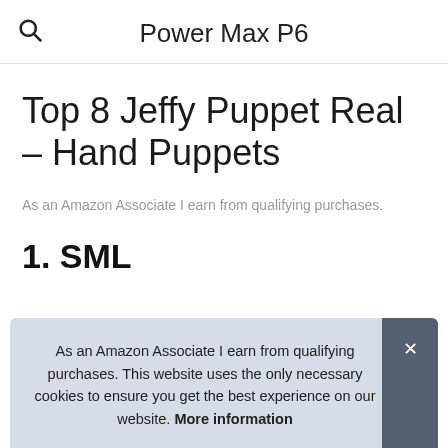Power Max P6
Top 8 Jeffy Puppet Real – Hand Puppets
As an Amazon Associate I earn from qualifying purchases.
1. SML
#ad
As an Amazon Associate I earn from qualifying purchases. This website uses the only necessary cookies to ensure you get the best experience on our website. More information